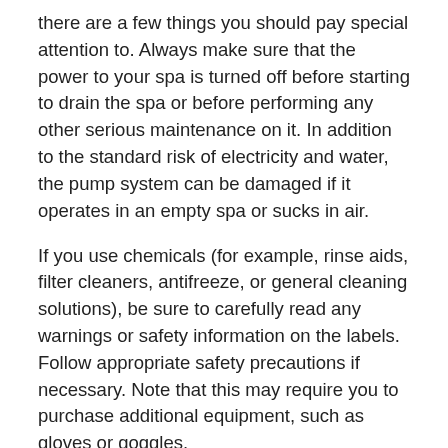there are a few things you should pay special attention to. Always make sure that the power to your spa is turned off before starting to drain the spa or before performing any other serious maintenance on it. In addition to the standard risk of electricity and water, the pump system can be damaged if it operates in an empty spa or sucks in air.
If you use chemicals (for example, rinse aids, filter cleaners, antifreeze, or general cleaning solutions), be sure to carefully read any warnings or safety information on the labels. Follow appropriate safety precautions if necessary. Note that this may require you to purchase additional equipment, such as gloves or goggles.
Finally, always consult your spa owner's manual for model specific safety precautions, instructions, and warnings that you should pay attention to. Hot tub manufacturers detail all of the information you need to know before performing maintenance, and most manuals will also include model-specific winterizing instructions.